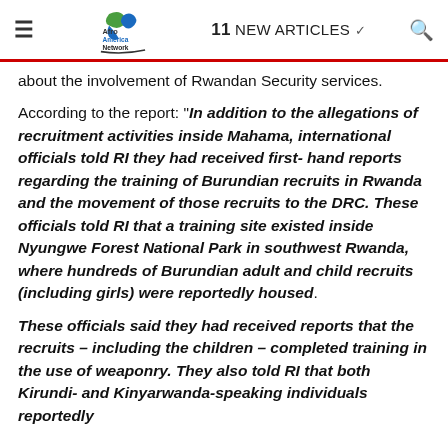≡  Afro America Network  11 NEW ARTICLES  🔍
about the involvement of Rwandan Security services.
According to the report: "In addition to the allegations of recruitment activities inside Mahama, international officials told RI they had received first- hand reports regarding the training of Burundian recruits in Rwanda and the movement of those recruits to the DRC. These officials told RI that a training site existed inside Nyungwe Forest National Park in southwest Rwanda, where hundreds of Burundian adult and child recruits (including girls) were reportedly housed.

These officials said they had received reports that the recruits – including the children – completed training in the use of weaponry. They also told RI that both Kirundi- and Kinyarwanda-speaking individuals reportedly